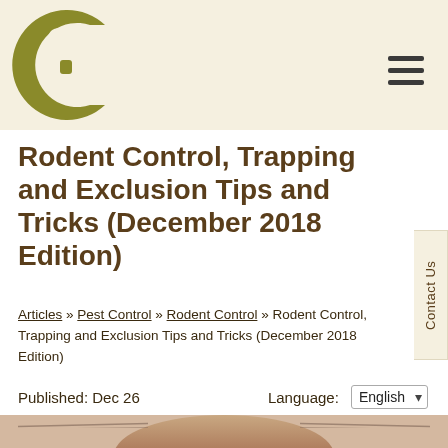[Figure (logo): AC logo in olive/dark gold color with stylized letters]
Rodent Control, Trapping and Exclusion Tips and Tricks (December 2018 Edition)
Articles » Pest Control » Rodent Control » Rodent Control, Trapping and Exclusion Tips and Tricks (December 2018 Edition)
Published: Dec 26    Language: English
[Figure (photo): Partial photo of a rodent (mouse/rat) visible at the bottom of the page]